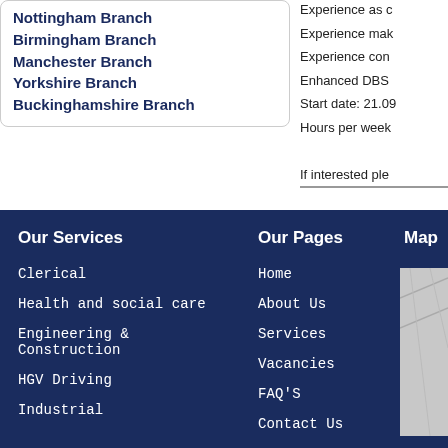Nottingham Branch
Birmingham Branch
Manchester Branch
Yorkshire Branch
Buckinghamshire Branch
Experience as c
Experience mak
Experience con
Enhanced DBS
Start date: 21.09
Hours per week
If interested ple
Our Services
Clerical
Health and social care
Engineering & Construction
HGV Driving
Industrial
Our Pages
Home
About Us
Services
Vacancies
FAQ'S
Contact Us
Map
[Figure (map): Partial map image shown in footer right column]